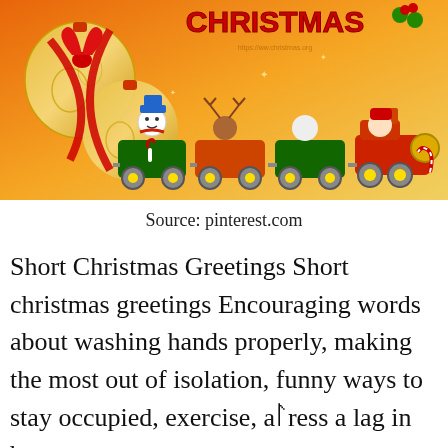[Figure (illustration): Christmas greeting card image showing gold ornament balls with red ribbon on the left, a Christmas train with characters (snowman, reindeer, polar bear, Santa) in green and red wagons, and 'CHRISTMAS' text in decorative lettering with holly on an orange/gold gradient background.]
Source: pinterest.com
Short Christmas Greetings Short christmas greetings Encouraging words about washing hands properly, making the most out of isolation, funny ways to stay occupied, exercise, address a lag in beauty